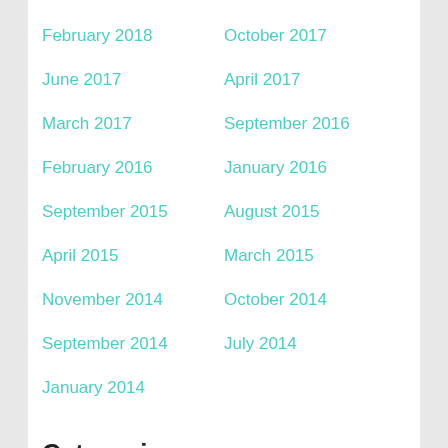February 2018
October 2017
June 2017
April 2017
March 2017
September 2016
February 2016
January 2016
September 2015
August 2015
April 2015
March 2015
November 2014
October 2014
September 2014
July 2014
January 2014
Categories